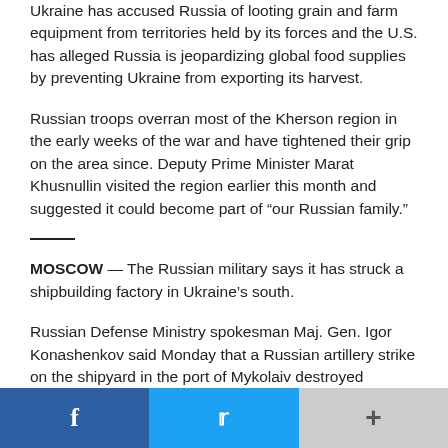Ukraine has accused Russia of looting grain and farm equipment from territories held by its forces and the U.S. has alleged Russia is jeopardizing global food supplies by preventing Ukraine from exporting its harvest.
Russian troops overran most of the Kherson region in the early weeks of the war and have tightened their grip on the area since. Deputy Prime Minister Marat Khusnullin visited the region earlier this month and suggested it could become part of “our Russian family.”
MOSCOW — The Russian military says it has struck a shipbuilding factory in Ukraine’s south.
Russian Defense Ministry spokesman Maj. Gen. Igor Konashenkov said Monday that a Russian artillery strike on the shipyard in the port of Mykolaiv destroyed Ukrainian
[Figure (other): Social sharing bar with Facebook, Twitter, and more (+) buttons]